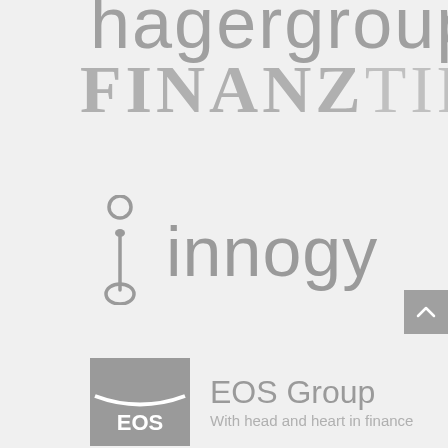[Figure (logo): hagergroup logo text partially visible at top, grey color]
[Figure (logo): FINANZTIP logo in large serif font, grey color]
[Figure (logo): innogy logo with stylized i icon and innogy wordmark in grey]
[Figure (logo): EOS Group logo — grey square badge with EOS text and tagline 'With head and heart in finance']